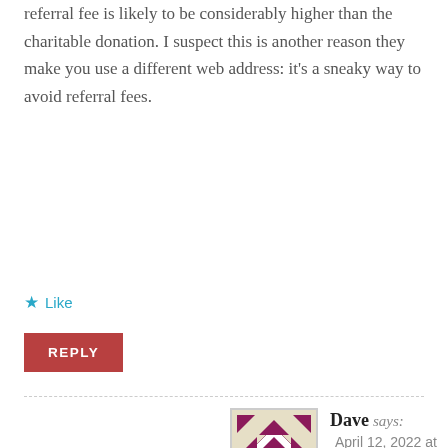referral fee is likely to be considerably higher than the charitable donation. I suspect this is another reason they make you use a different web address: it's a sneaky way to avoid referral fees.
★ Like
REPLY
Dave says:
April 12, 2022 at 3:36 am
If you receive compensation for your donation, you must deduct what you received related to the donation. I